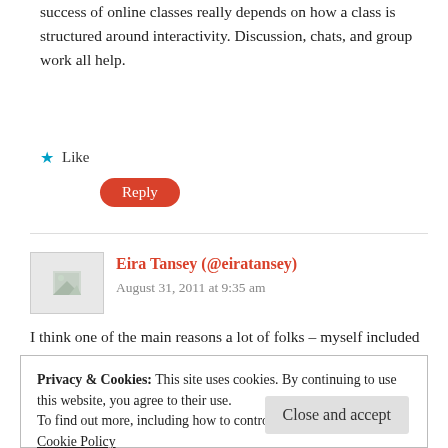success of online classes really depends on how a class is structured around interactivity. Discussion, chats, and group work all help.
★ Like
Reply
Eira Tansey (@eiratansey)
August 31, 2011 at 9:35 am
I think one of the main reasons a lot of folks – myself included – pursue an online MLIS program is that we're already working in a library environment. Online education gives us the
Privacy & Cookies: This site uses cookies. By continuing to use this website, you agree to their use.
To find out more, including how to control cookies, see here:
Cookie Policy
Close and accept
to get rich doing it, but that also means I need to be responsible